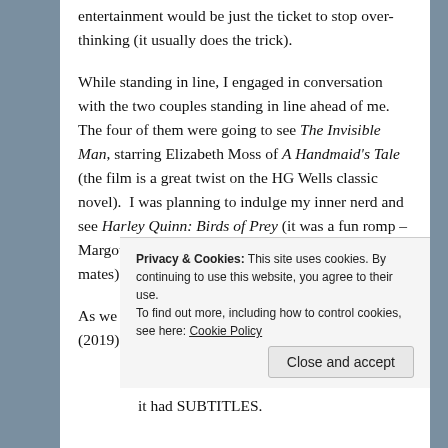entertainment would be just the ticket to stop over-thinking (it usually does the trick).
While standing in line, I engaged in conversation with the two couples standing in line ahead of me. The four of them were going to see The Invisible Man, starring Elizabeth Moss of A Handmaid's Tale (the film is a great twist on the HG Wells classic novel).  I was planning to indulge my inner nerd and see Harley Quinn: Birds of Prey (it was a fun romp – Margot Robbie kicks ass, as do her fantabulous cast-mates).
As we talked, I noted on the marquee that Parasite (2019) was also playing, but at a much later time
Privacy & Cookies: This site uses cookies. By continuing to use this website, you agree to their use.
To find out more, including how to control cookies, see here: Cookie Policy
Close and accept
it had SUBTITLES.